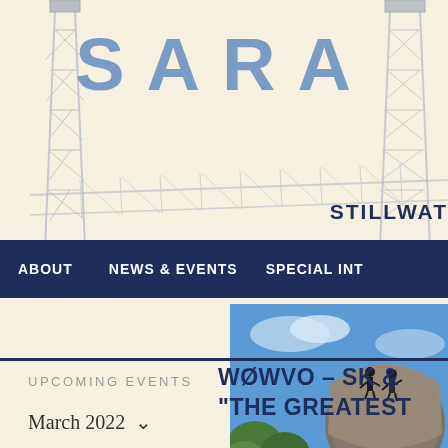[Figure (illustration): Background illustration of radio/broadcast towers (steel lattice structures) and a bridge, rendered in muted gray/blue tones on a cream background]
SARA
STILLWAT
ABOUT    NEWS & EVENTS    SPECIAL INT
[Figure (photo): Photo of two people on top of a water tower or large rounded structure, with blue sky and green trees in background]
UPCOMING EVENTS
W0WVO – SK &
"THE GREATEST
March 2022  ∨  < >